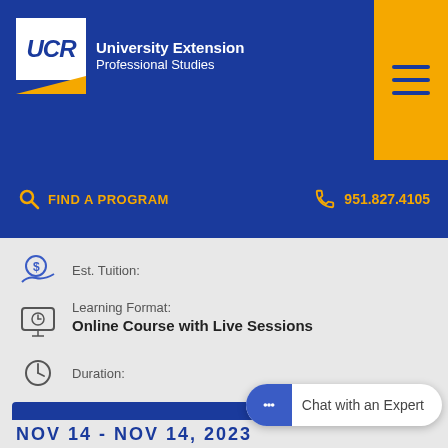[Figure (logo): UCR University Extension Professional Studies logo with blue background and yellow accent tab]
FIND A PROGRAM
951.827.4105
Est. Tuition:
Learning Format:
Online Course with Live Sessions
Duration:
Enroll
Chat with an Expert
NOV 14 - NOV 14, 2023